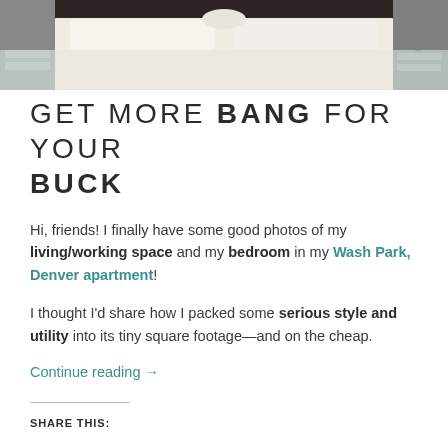[Figure (photo): Bedroom photo showing a white bed with white bedding, dark headboard, and light-colored nightstands on each side.]
GET MORE BANG FOR YOUR BUCK
Hi, friends! I finally have some good photos of my living/working space and my bedroom in my Wash Park, Denver apartment!
I thought I'd share how I packed some serious style and utility into its tiny square footage—and on the cheap.
Continue reading →
SHARE THIS: